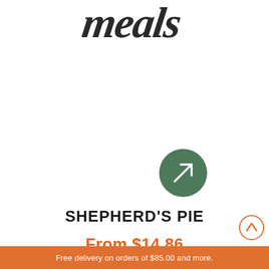meals
[Figure (illustration): Green circle button with diagonal arrow (northeast direction) icon in white]
SHEPHERD'S PIE
From $14.86
Free delivery on orders of $85.00 and more.